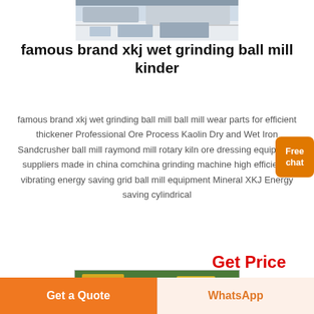[Figure (photo): Industrial machinery / ball mill equipment at a mining site, with snowy or dusty surroundings]
famous brand xkj wet grinding ball mill kinder
famous brand xkj wet grinding ball mill ball mill wear parts for efficient thickener Professional Ore Process Kaolin Dry and Wet Iron Sandcrusher ball mill raymond mill rotary kiln ore dressing equipment suppliers made in china comchina grinding machine high efficiency vibrating energy saving grid ball mill equipment Mineral XKJ Energy saving cylindrical
Get Price
[Figure (photo): Yellow industrial crushing or vibrating screen equipment parked outdoors under trees]